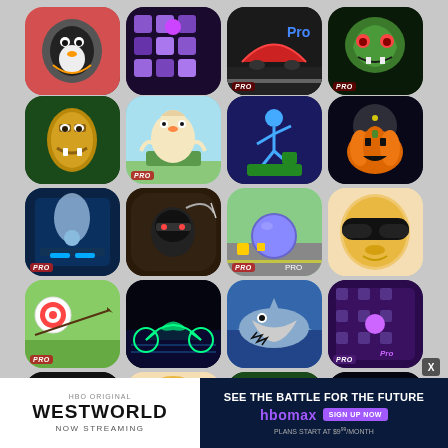[Figure (screenshot): App store grid of mobile game icons arranged in 5 rows of 4, showing various games including penguin, puzzle, racing, zombie, tiki mask, chicken, stickman, pumpkin, pinball, ninja, ball, sunglasses face, archery, motorcycle, shark, air hockey, music, sunglasses, tiki, and motorcycle games — many with 'PRO' badge. Below the icons is an advertisement banner for HBO Westworld / HBO Max streaming service.]